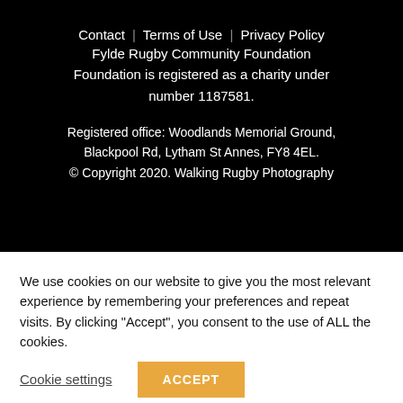Contact | Terms of Use | Privacy Policy
Fylde Rugby Community Foundation Foundation is registered as a charity under number 1187581.
Registered office: Woodlands Memorial Ground, Blackpool Rd, Lytham St Annes, FY8 4EL.
© Copyright 2020. Walking Rugby Photography
We use cookies on our website to give you the most relevant experience by remembering your preferences and repeat visits. By clicking “Accept”, you consent to the use of ALL the cookies.
Cookie settings
ACCEPT